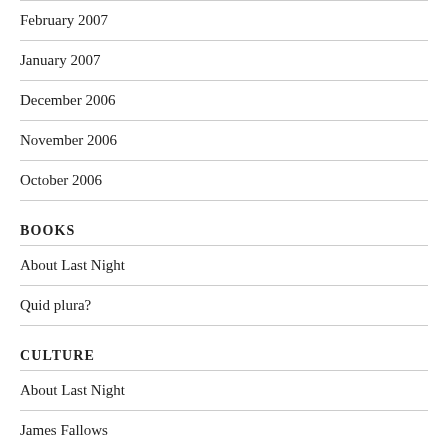February 2007
January 2007
December 2006
November 2006
October 2006
BOOKS
About Last Night
Quid plura?
CULTURE
About Last Night
James Fallows
Marginal Revolution
Paul Graham's Essays